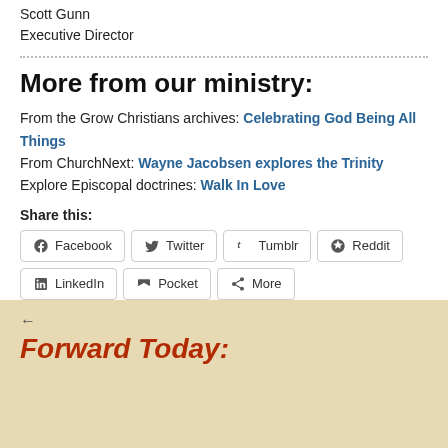Scott Gunn
Executive Director
More from our ministry:
From the Grow Christians archives: Celebrating God Being All Things
From ChurchNext: Wayne Jacobsen explores the Trinity
Explore Episcopal doctrines: Walk In Love
Share this:
Facebook  Twitter  Tumblr  Reddit  LinkedIn  Pocket  More
← Forward Today: